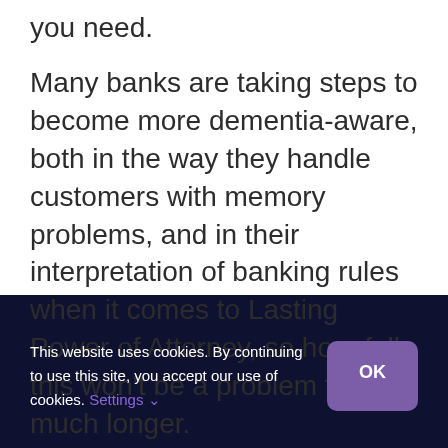you need.
Many banks are taking steps to become more dementia-aware, both in the way they handle customers with memory problems, and in their interpretation of banking rules when it comes to Lasting Power of Attorney, so hopefully this won't be a problem for much longer.
This website uses cookies. By continuing to use this site, you accept our use of cookies. Settings OK